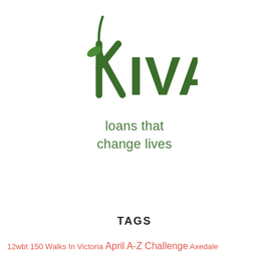[Figure (logo): Kiva logo — green stylized leaf/grass blade forming the letter K, followed by 'IVA' in dark green capitals. Below the K shape is a small green leaf. Text reads KIVA.]
loans that
change lives
TAGS
12wbt 150 Walks In Victoria April A-Z Challenge Axedale